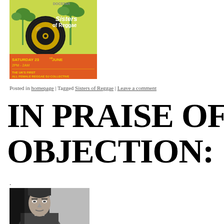[Figure (illustration): Sisters of Reggae event poster. Green background with palm trees, vinyl record graphic, text: SISTERS OF REGGAE, SATURDAY 23rd JUNE, 2PM - 2AM, THE UK'S FIRST ALL FEMALE REGGAE DJ COLLECTIVE]
Posted in homepage | Tagged Sisters of Reggae | Leave a comment
IN PRAISE OF CO OBJECTION:
.
[Figure (photo): Black and white photograph of a man looking to the side, in a casual setting]